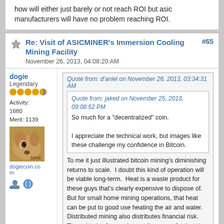how will either just barely or not reach ROI but asic manufacturers will have no problem reaching ROI.
Re: Visit of ASICMINER's Immersion Cooling Mining Facility
November 26, 2013, 04:08:20 AM
#65
dogie
Legendary
Activity: 1680
Merit: 1139
dogiecoin.com
Quote from: d'aniel on November 26, 2013, 03:34:31 AM
Quote from: jaked on November 25, 2013, 09:08:52 PM
So much for a "decentralized" coin.

I appreciate the technical work, but images like these challenge my confidence in Bitcoin.

To me it just illustrated bitcoin mining's diminishing returns to scale. I doubt this kind of operation will be viable long-term. Heat is a waste product for these guys that's clearly expensive to dispose of. But for small home mining operations, that heat can be put to good use heating the air and water. Distributed mining also distributes financial risk. These kinds of operations strike me as fat that the industry will trim as it matures.
They've proven its NOT expensive to remove though. With capital investment and advanced tech, they can almost passively remove a 'shit tonne' of heat and achieve infinite density.